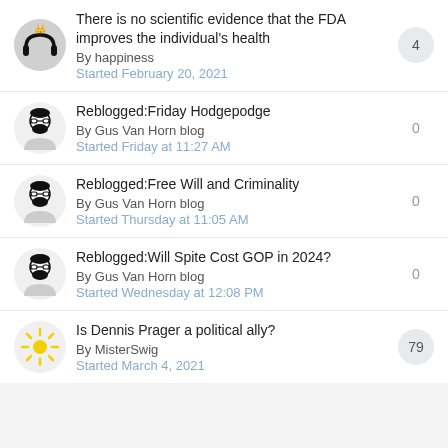There is no scientific evidence that the FDA improves the individual's health
By happiness
Started February 20, 2021
4
Reblogged:Friday Hodgepodge
By Gus Van Horn blog
Started Friday at 11:27 AM
0
Reblogged:Free Will and Criminality
By Gus Van Horn blog
Started Thursday at 11:05 AM
0
Reblogged:Will Spite Cost GOP in 2024?
By Gus Van Horn blog
Started Wednesday at 12:08 PM
0
Is Dennis Prager a political ally?
By MisterSwig
Started March 4, 2021
79